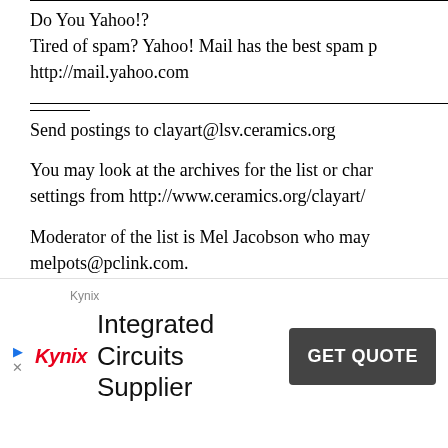Do You Yahoo!?
Tired of spam? Yahoo! Mail has the best spam p...
http://mail.yahoo.com
Send postings to clayart@lsv.ceramics.org

You may look at the archives for the list or change your settings from http://www.ceramics.org/clayart/

Moderator of the list is Mel Jacobson who may be reached at melpots@pclink.com.
[Figure (infographic): Kynix advertisement banner with logo, 'Integrated Circuits Supplier' text, and 'GET QUOTE' button]